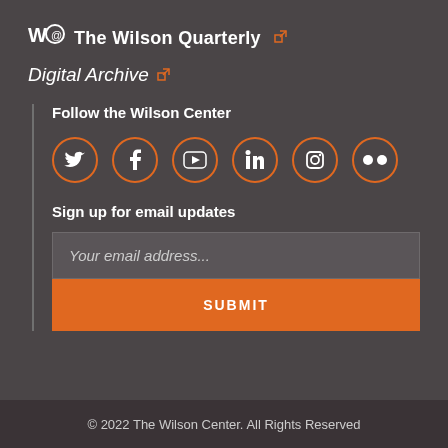The Wilson Quarterly
Digital Archive
Follow the Wilson Center
[Figure (infographic): Six social media icon circles (Twitter, Facebook, YouTube, LinkedIn, Instagram, Flickr) with orange outlines on dark background]
Sign up for email updates
Your email address...
SUBMIT
© 2022 The Wilson Center. All Rights Reserved